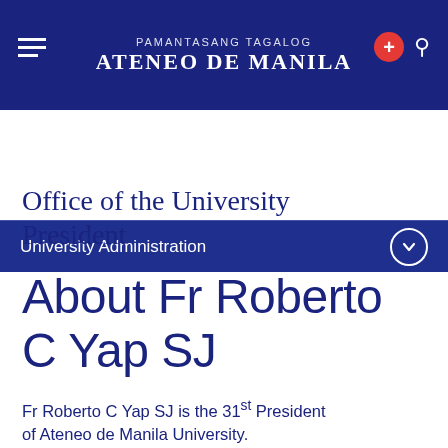PAMANTASANG ATENEO DE MANILA
University Administration
Office of the University President
About Fr Roberto C Yap SJ
Fr Roberto C Yap SJ is the 31st President of Ateneo de Manila University.